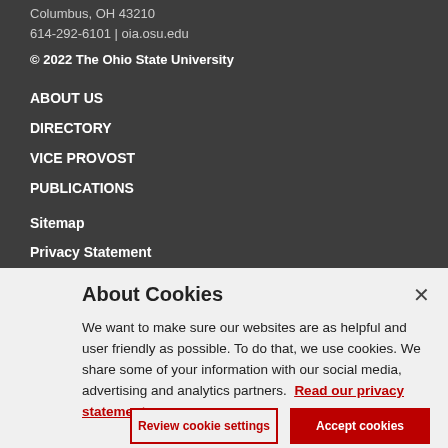Columbus, OH 43210
614-292-6101 | oia.osu.edu
© 2022 The Ohio State University
ABOUT US
DIRECTORY
VICE PROVOST
PUBLICATIONS
Sitemap
Privacy Statement
About Cookies
We want to make sure our websites are as helpful and user friendly as possible. To do that, we use cookies. We share some of your information with our social media, advertising and analytics partners. Read our privacy statement
Review cookie settings
Accept cookies